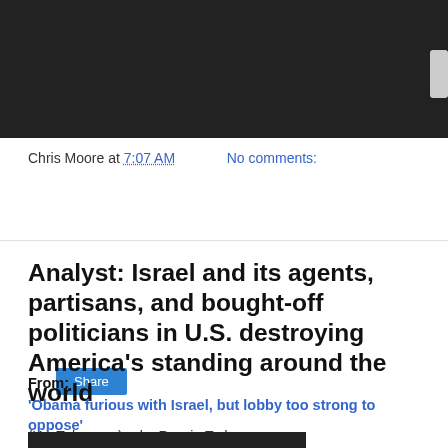[Figure (screenshot): Black bar at top of page, partially visible video or image area]
Chris Moore at 7:07 AM   No comments:
Share
Analyst: Israel and its agents, partisans, and bought-off politicians in U.S. destroying America's standing around the world
From:
'Obama furious with Israel, but lobby too strong to oppose'
(YouTube.com) -- by Russia Today --
[Figure (screenshot): Black bar at bottom, partially visible video thumbnail]